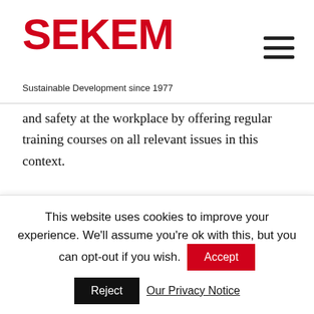SEKEM — Sustainable Development since 1977
and safety at the workplace by offering regular training courses on all relevant issues in this context.

But sustainable societal development means not only caring about the own enterprises and co-workers but also taking into account the people that surrounds you. The SEKEM Farm is located in a rural area about 45 kilometers from Cairo. It's closer neighborhood consists of small, very traditional villages. To contribute to the health of this surrounding community and in the same time offer its employees
This website uses cookies to improve your experience. We'll assume you're ok with this, but you can opt-out if you wish.
Accept
Reject
Our Privacy Notice